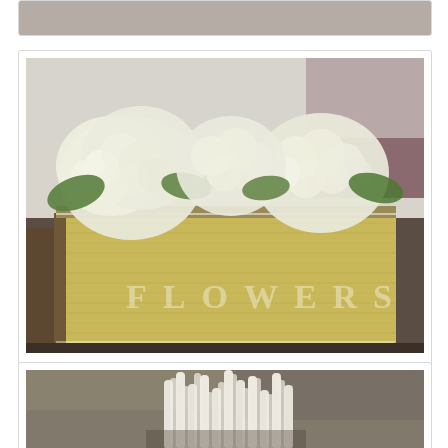[Figure (photo): Partial view of a photo at the top of the page (cropped), appears to show a blurred scene.]
[Figure (photo): A wooden planter box with white/cream hydrangea flowers and green leaves arranged inside, sitting on a dark surface. The box has a yellow painted front with stenciled letters.]
Atop the bar was this arrangement of hydrangeas.
[Figure (photo): Close-up photograph of bundled paper straws or rolled paper sticks standing upright in a container, shot with shallow depth of field.]